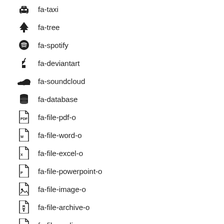fa-taxi
fa-tree
fa-spotify
fa-deviantart
fa-soundcloud
fa-database
fa-file-pdf-o
fa-file-word-o
fa-file-excel-o
fa-file-powerpoint-o
fa-file-image-o
fa-file-archive-o
fa-file-audio-o
fa-file-video-o